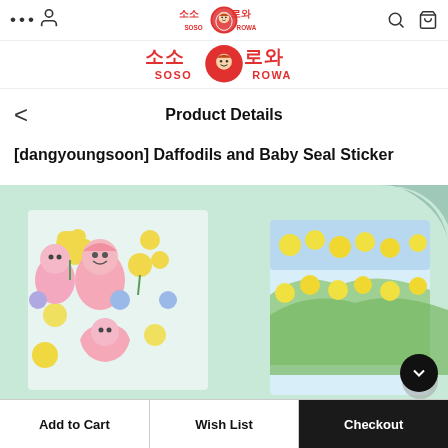소소 로와 SOSO ROWA — navigation bar with user, search, cart icons
[Figure (logo): SOSO ROWA brand logo in red with Korean text 소소 로와 and circular character illustration]
Product Details
[dangyoungsoon] Daffodils and Baby Seal Sticker
[Figure (photo): Product photo showing sticker sheets with daffodil and baby seal character designs on a mint/light green background]
Add to Cart | Wish List | Checkout